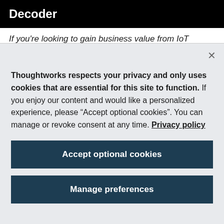Decoder
If you're looking to gain business value from IoT deployments, securing your assets is essential.
Thoughtworks respects your privacy and only uses cookies that are essential for this site to function. If you enjoy our content and would like a personalized experience, please “Accept optional cookies”. You can manage or revoke consent at any time. Privacy policy
Accept optional cookies
Manage preferences